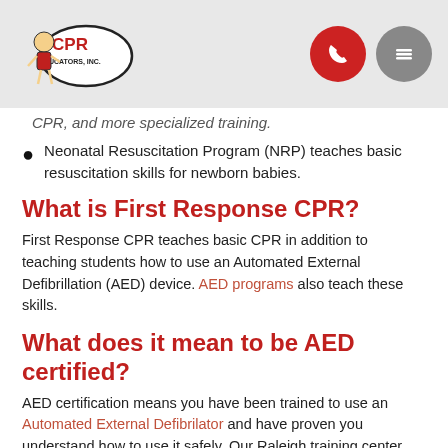CPR Educators, Inc. logo with phone and menu icons
CPR, and more specialized training.
Neonatal Resuscitation Program (NRP) teaches basic resuscitation skills for newborn babies.
What is First Response CPR?
First Response CPR teaches basic CPR in addition to teaching students how to use an Automated External Defibrillation (AED) device. AED programs also teach these skills.
What does it mean to be AED certified?
AED certification means you have been trained to use an Automated External Defibrilator and have proven you understand how to use it safely. Our Raleigh training center provides AED certification as part of our Heartsaver® Pediatric First Aid CPR AED class and our BLS class.
What is...